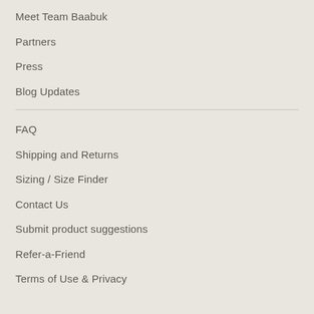Meet Team Baabuk
Partners
Press
Blog Updates
FAQ
Shipping and Returns
Sizing / Size Finder
Contact Us
Submit product suggestions
Refer-a-Friend
Terms of Use & Privacy